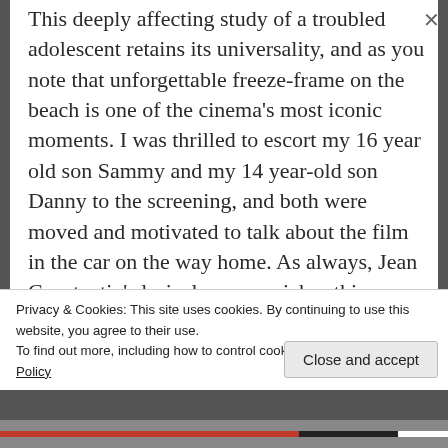This deeply affecting study of a troubled adolescent retains its universality, and as you note that unforgettable freeze-frame on the beach is one of the cinema's most iconic moments. I was thrilled to escort my 16 year old son Sammy and my 14 year-old son Danny to the screening, and both were moved and motivated to talk about the film in the car on the way home. As always, Jean Constantin's lyrical score enriches this personal experience, and I am still humming it and playing by CD days later. Henri Decae's evocative black and white shows Paris in a unique way, stressing as
Privacy & Cookies: This site uses cookies. By continuing to use this website, you agree to their use.
To find out more, including how to control cookies, see here: Cookie Policy
Close and accept